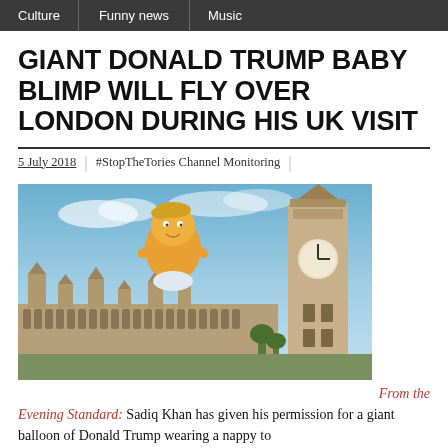Culture | Funny news | Music
GIANT DONALD TRUMP BABY BLIMP WILL FLY OVER LONDON DURING HIS UK VISIT
5 July 2018 | #StopTheTories Channel Monitoring |
[Figure (photo): Orange baby blimp cartoon of Donald Trump floating in the sky above the Houses of Parliament and Big Ben in London]
From the
Evening Standard: Sadiq Khan has given his permission for a giant balloon of Donald Trump wearing a nappy to